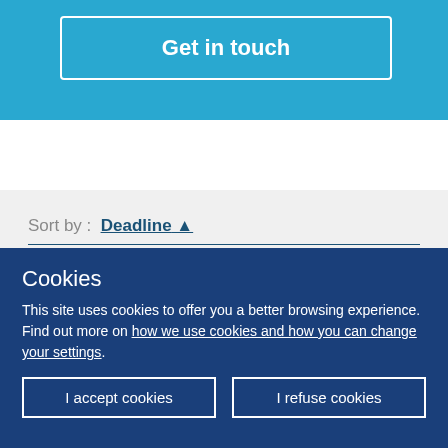Get in touch
[Figure (other): Info icon circle with italic i]
Sort by : Deadline ↑
25 opportunities found
A web application developer is looking for experienced partners in
Cookies
This site uses cookies to offer you a better browsing experience. Find out more on how we use cookies and how you can change your settings.
I accept cookies
I refuse cookies